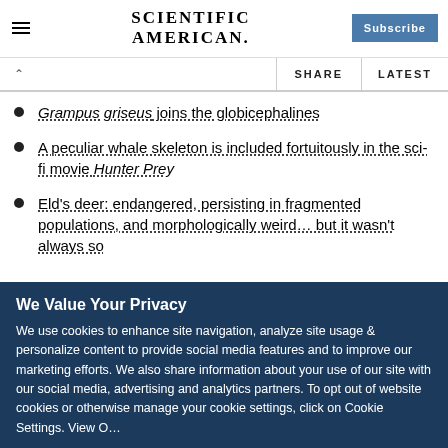Scientific American | Subscribe
Grampus griseus joins the globicephalines
A peculiar whale skeleton is included fortuitously in the sci-fi movie Hunter Prey
Eld's deer: endangered, persisting in fragmented populations, and morphologically weird… but it wasn't always so
We Value Your Privacy
We use cookies to enhance site navigation, analyze site usage & personalize content to provide social media features and to improve our marketing efforts. We also share information about your use of our site with our social media, advertising and analytics partners. To opt out of website cookies or otherwise manage your cookie settings, click on Cookie Settings. View O...